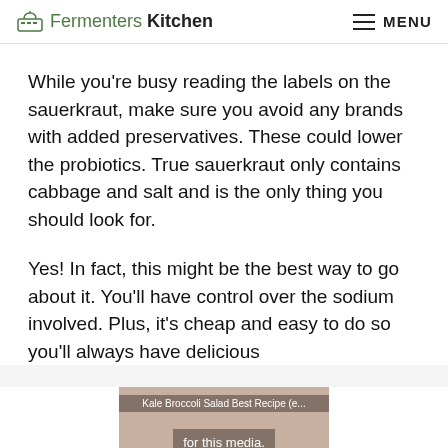Fermenters Kitchen  MENU
While you're busy reading the labels on the sauerkraut, make sure you avoid any brands with added preservatives. These could lower the probiotics. True sauerkraut only contains cabbage and salt and is the only thing you should look for.
Yes! In fact, this might be the best way to go about it. You'll have control over the sodium involved. Plus, it's cheap and easy to do so you'll always have delicious
[Figure (photo): Ad overlay showing food image (broccoli salad) with overlay text 'for this media.' and X close button, plus bottom text 'Therefore, it is a great low-carb vegetable, as well as being low in calories...']